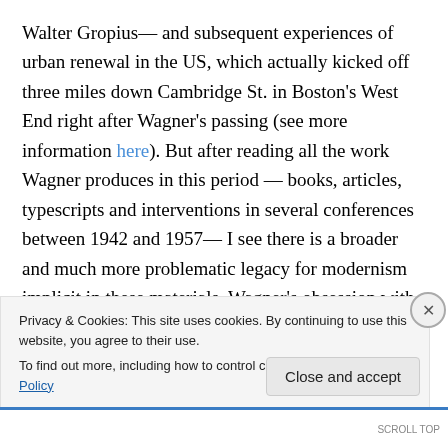Walter Gropius— and subsequent experiences of urban renewal in the US, which actually kicked off three miles down Cambridge St. in Boston's West End right after Wagner's passing (see more information here). But after reading all the work Wagner produces in this period — books, articles, typescripts and interventions in several conferences between 1942 and 1957— I see there is a broader and much more problematic legacy for modernism implicit in these materials. Wagner's obsession with economic and financial analysis led him to develop a veritable political economy of territorial transformation
Privacy & Cookies: This site uses cookies. By continuing to use this website, you agree to their use.
To find out more, including how to control cookies, see here: Cookie Policy
Close and accept